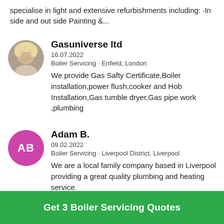specialise in light and extensive refurbishments including: ·In side and out side Painting &...
Gasuniverse ltd
16.07.2022
Boiler Servicing · Enfield, London
We provide Gas Safty Certificate,Boiler installation,power flush,cooker and Hob Installation,Gas tumble dryer,Gas pipe work ,plumbing
Adam B.
09.02.2022
Boiler Servicing · Liverpool District, Liverpool
We are a local family company based in Liverpool providing a great quality plumbing and heating service.
Get 3 Boiler Servicing Quotes